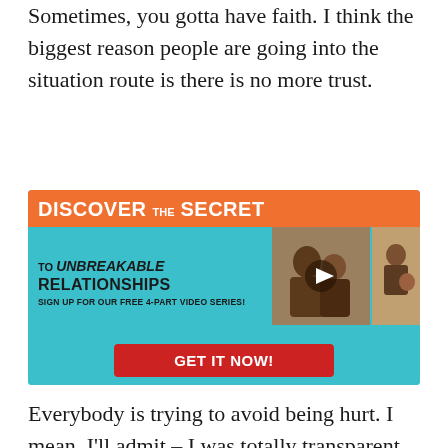Sometimes, you gotta have faith. I think the biggest reason people are going into the situation route is there is no more trust.
[Figure (infographic): Advertisement banner: 'DISCOVER THE SECRET TO UNBREAKABLE RELATIONSHIPS - SIGN UP FOR OUR FREE 4-PART VIDEO SERIES! GET IT NOW!' with orange and teal background and couple photos.]
Everybody is trying to avoid being hurt. I mean, I'll admit – I was totally transparent with Keri. After coming out of the marriage I came out of, I was worried. Right now we're going through the Black